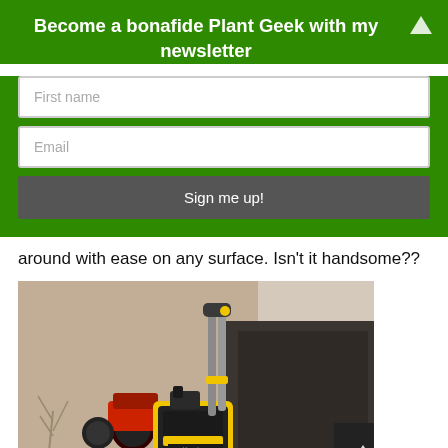Become a bonafide Plant Geek with my newsletter
[Figure (screenshot): Newsletter signup form with First name input, Email input, and Sign me up! button on green background]
around with ease on any surface. Isn't it handsome??
[Figure (photo): Photo of a yellow and black pressure washer with telescoping handle, parked on a surface outdoors with a motorcycle and building in the background]